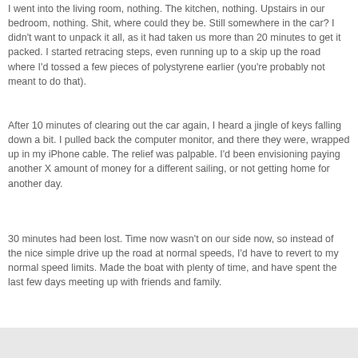I went into the living room, nothing.  The kitchen, nothing.  Upstairs in our bedroom, nothing.  Shit, where could they be.  Still somewhere in the car?  I didn't want to unpack it all, as it had taken us more than 20 minutes to get it packed.  I started retracing steps, even running up to a skip up the road where I'd tossed a few pieces of polystyrene earlier (you're probably not meant to do that).
After 10 minutes of clearing out the car again, I heard a jingle of keys falling down a bit.  I pulled back the computer monitor, and there they were, wrapped up in my iPhone cable.  The relief was palpable.  I'd been envisioning paying another X amount of money for a different sailing, or not getting home for another day.
30 minutes had been lost.  Time now wasn't on our side now, so instead of the nice simple drive up the road at normal speeds, I'd have to revert to my normal speed limits.  Made the boat with plenty of time, and have spent the last few days meeting up with friends and family.